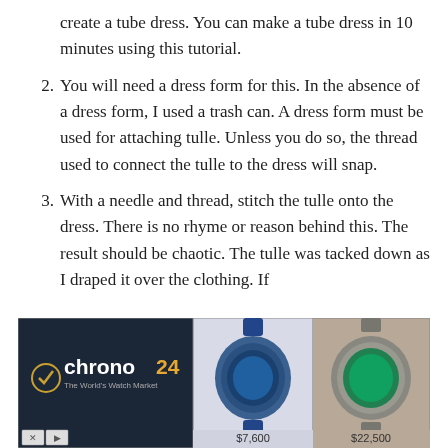create a tube dress. You can make a tube dress in 10 minutes using this tutorial.
2.  You will need a dress form for this. In the absence of a dress form, I used a trash can. A dress form must be used for attaching tulle. Unless you do so, the thread used to connect the tulle to the dress will snap.
3.  With a needle and thread, stitch the tulle onto the dress. There is no rhyme or reason behind this. The result should be chaotic. The tulle was tacked down as I draped it over the clothing. If
[Figure (screenshot): Advertisement banner for Chrono24 watch marketplace showing logo on dark background and two luxury watches with prices $7,600 and $22,500]